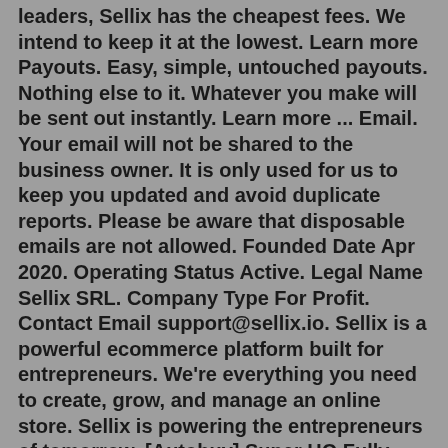leaders, Sellix has the cheapest fees. We intend to keep it at the lowest. Learn more Payouts. Easy, simple, untouched payouts. Nothing else to it. Whatever you make will be sent out instantly. Learn more ... Email. Your email will not be shared to the business owner. It is only used for us to keep you updated and avoid duplicate reports. Please be aware that disposable emails are not allowed. Founded Date Apr 2020. Operating Status Active. Legal Name Sellix SRL. Company Type For Profit. Contact Email support@sellix.io. Sellix is a powerful ecommerce platform built for entrepreneurs. We're everything you need to create, grow, and manage an online store. Sellix is powering the entrepreneurs of tomorrow. [Autobuy] Super HQ Fully Verified ★ Email Verified ★ Aged Discord Tokens, Selling Super HQ Discord Tokens Email Verified $0.05/Token] Aged Email Verified $0.09/Token] Full Verified Tokens $0.25/Token] Full Verified Tokens $0.35, Digital Currency and Non-Game Sales, ...